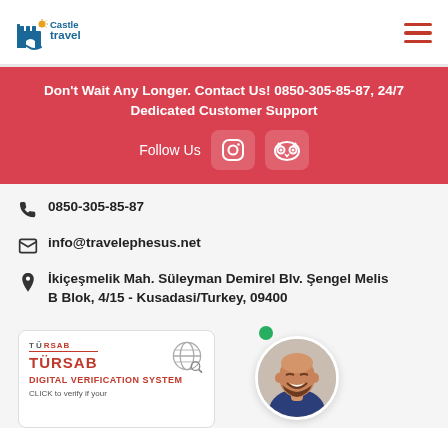[Figure (logo): Castle Travel logo — castle icon with sun, blue and orange text]
Don't Wait Any Longer. Contact Us! 0850-305-85-87, 24/7 Dedicated Customer Support
Follow Us
[Figure (illustration): Instagram icon button]
[Figure (illustration): TripAdvisor icon button]
0850-305-85-87
info@travelephesus.net
İkiçeşmelik Mah. Süleyman Demirel Blv. Şengel Melis B Blok, 4/15 - Kusadasi/Turkey, 09400
[Figure (other): TÜRSAB Digital Verification System badge card]
[Figure (photo): Avatar photo of a smiling bald man with beard, circular crop, with green online indicator dot]